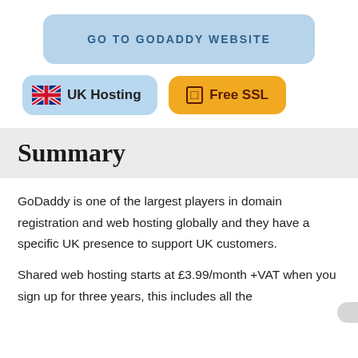GO TO GODADDY WEBSITE
[Figure (illustration): UK Hosting badge with UK flag icon and Free SSL badge with lock icon]
Summary
GoDaddy is one of the largest players in domain registration and web hosting globally and they have a specific UK presence to support UK customers.
Shared web hosting starts at £3.99/month +VAT when you sign up for three years, this includes all the